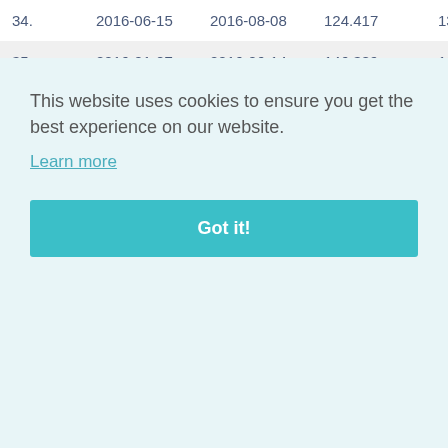| # | Date From | Date To | Value 1 | Value 2 | Rate |
| --- | --- | --- | --- | --- | --- |
| 34. | 2016-06-15 | 2016-08-08 | 124.417 | 132.085 | 0.71% |
| 35. | 2016-01-07 | 2016-06-14 | 146.389 | 124.417 | 0.61% |
| 36. | 2015-12-15 | 2016-01- | 150.476 | 146.389 | 0.51% |
This website uses cookies to ensure you get the best experience on our website.
Learn more
Got it!